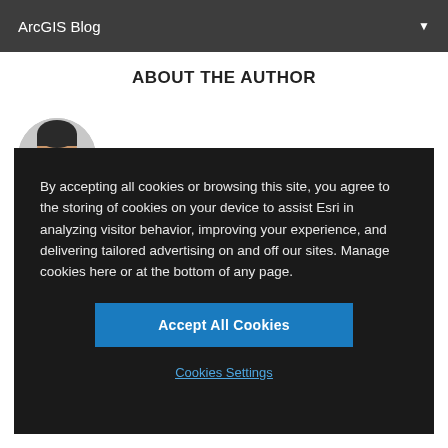ArcGIS Blog
ABOUT THE AUTHOR
[Figure (photo): Author profile photo showing a person's face, partially visible, circular crop]
By accepting all cookies or browsing this site, you agree to the storing of cookies on your device to assist Esri in analyzing visitor behavior, improving your experience, and delivering tailored advertising on and off our sites. Manage cookies here or at the bottom of any page.
Accept All Cookies
Cookies Settings